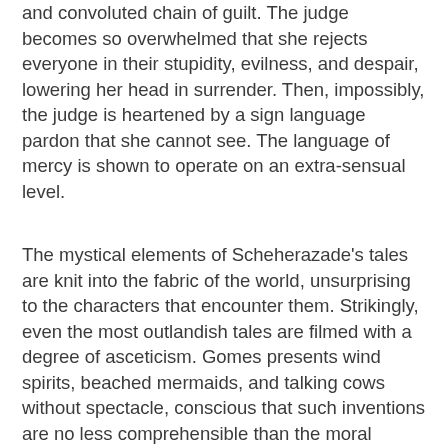and convoluted chain of guilt. The judge becomes so overwhelmed that she rejects everyone in their stupidity, evilness, and despair, lowering her head in surrender. Then, impossibly, the judge is heartened by a sign language pardon that she cannot see. The language of mercy is shown to operate on an extra-sensual level.
The mystical elements of Scheherazade's tales are knit into the fabric of the world, unsurprising to the characters that encounter them. Strikingly, even the most outlandish tales are filmed with a degree of asceticism. Gomes presents wind spirits, beached mermaids, and talking cows without spectacle, conscious that such inventions are no less comprehensible than the moral bankruptcy of Portugal's leaders.
Gomes's lack of visual extravagance in no way limits the aesthetic impact of Arabian Nights. The film's delicate restraint can be exquisitely devastating: a fugitive patiently eats beans in the dark as officers on horseback gather behind him; Scheherazade and her father discuss her incarceration as they ride a dreamy Ferris wheel on the beach; mining is glamorized by rock and stone; the